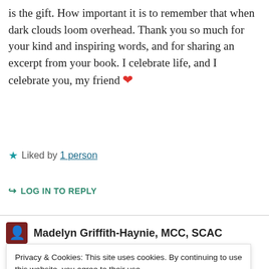is the gift. How important it is to remember that when dark clouds loom overhead. Thank you so much for your kind and inspiring words, and for sharing an excerpt from your book. I celebrate life, and I celebrate you, my friend ❤️
★ Liked by 1 person
➦ LOG IN TO REPLY
Madelyn Griffith-Haynie, MCC, SCAC
Privacy & Cookies: This site uses cookies. By continuing to use this website, you agree to their use.
To find out more, including how to control cookies, see here: Cookie Policy
Close and accept